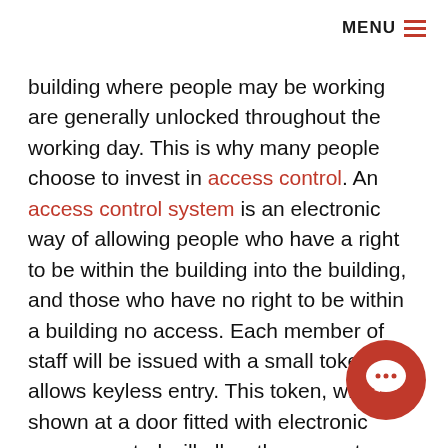MENU ≡
building where people may be working are generally unlocked throughout the working day. This is why many people choose to invest in access control. An access control system is an electronic way of allowing people who have a right to be within the building into the building, and those who have no right to be within a building no access. Each member of staff will be issued with a small token that allows keyless entry. This token, when shown at a door fitted with electronic access control will allow the owner to enter through the door. The door will then lock automatically once closed and will not until another token is used.

The electronic access control system has a number
[Figure (illustration): Red circular chat bubble icon in bottom right corner]